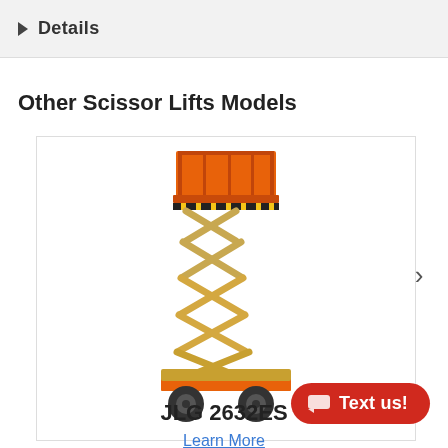▶ Details
Other Scissor Lifts Models
[Figure (photo): JLG 2632ES scissor lift machine with orange platform and yellow scissor mechanism on black wheels, shown fully extended vertically.]
JLG 2632ES
Learn More